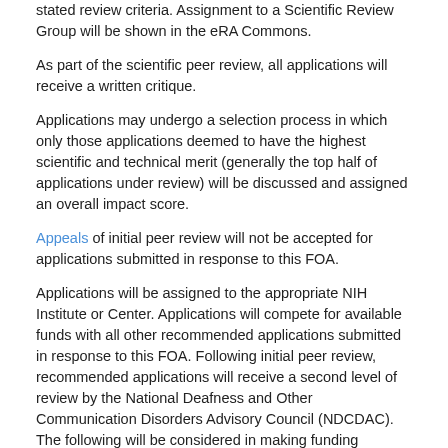stated review criteria. Assignment to a Scientific Review Group will be shown in the eRA Commons.
As part of the scientific peer review, all applications will receive a written critique.
Applications may undergo a selection process in which only those applications deemed to have the highest scientific and technical merit (generally the top half of applications under review) will be discussed and assigned an overall impact score.
Appeals of initial peer review will not be accepted for applications submitted in response to this FOA.
Applications will be assigned to the appropriate NIH Institute or Center. Applications will compete for available funds with all other recommended applications submitted in response to this FOA. Following initial peer review, recommended applications will receive a second level of review by the National Deafness and Other Communication Disorders Advisory Council (NDCDAC). The following will be considered in making funding decisions:
Scientific and technical merit of the proposed project as determined by scientific peer review.
Availability of funds.
Relevance of the proposed project to program priorities.